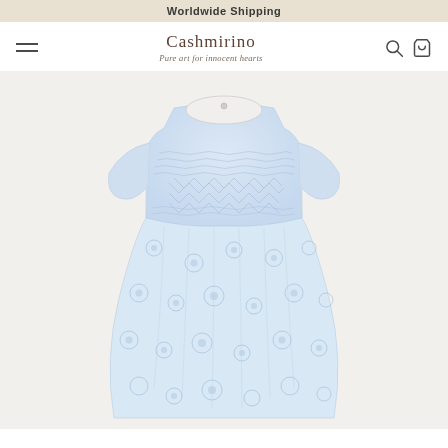Worldwide Shipping
Cashmirino
Pure art for innocent hearts
[Figure (photo): A children's dress with blue and white floral pattern, featuring smocking detail on the bodice and short sleeves, displayed on a light grey background.]